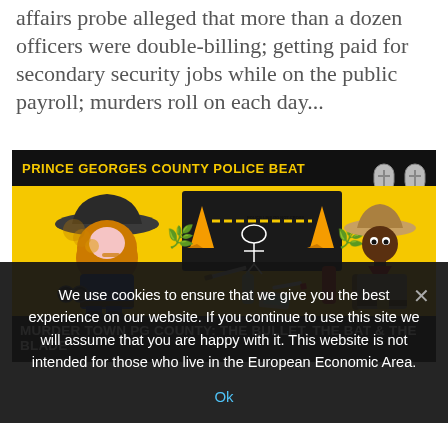affairs probe alleged that more than a dozen officers were double-billing; getting paid for secondary security jobs while on the public payroll; murders roll on each day...
[Figure (illustration): Prince Georges County Police Beat illustration on yellow background showing cartoon cowboy characters, crime scene tape, tombstones, drug paraphernalia, weapons, and crime scene chalk outline. Black bar at top reads 'PRINCE GEORGES COUNTY POLICE BEAT'. Black bar at bottom reads 'MURDER TOWN PG COUNTY: The Bullet. The Bat & The Blade'.]
We use cookies to ensure that we give you the best experience on our website. If you continue to use this site we will assume that you are happy with it. This website is not intended for those who live in the European Economic Area.
Ok